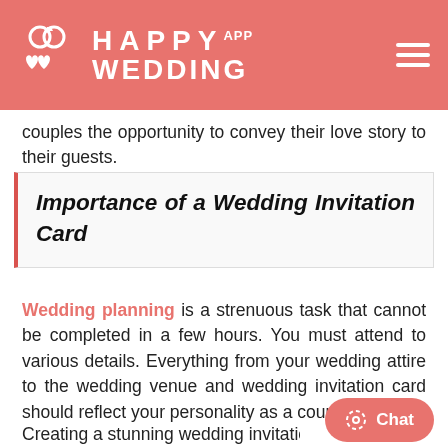HAPPY WEDDING APP
couples the opportunity to convey their love story to their guests.
Importance of a Wedding Invitation Card
Wedding planning is a strenuous task that cannot be completed in a few hours. You must attend to various details. Everything from your wedding attire to the wedding venue and wedding invitation card should reflect your personality as a couple.
Creating a stunning wedding invitation card is one of